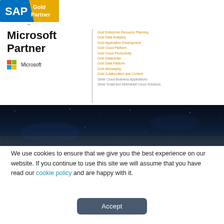[Figure (logo): SAP Gold Partner badge - blue and gold logo with 'Gold Partner' text on golden background]
[Figure (logo): Microsoft Partner logo with colorful four-square Microsoft logo, vertical divider, and list of gold/silver competencies including Gold Enterprise Resource Planning, Gold Data Analytics, Gold Application Development, Gold Cloud Platform, Gold Cloud Productivity, Gold Datacenter, Gold Data Platform, Gold Messaging, Gold Collaboration and Content, Silver Cloud Business Applications, Silver Small and Midmarket Cloud Solutions]
[Figure (photo): Dark navy blue starry sky banner image]
We use cookies to ensure that we give you the best experience on our website. If you continue to use this site we will assume that you have read our cookie policy and are happy with it.
Accept